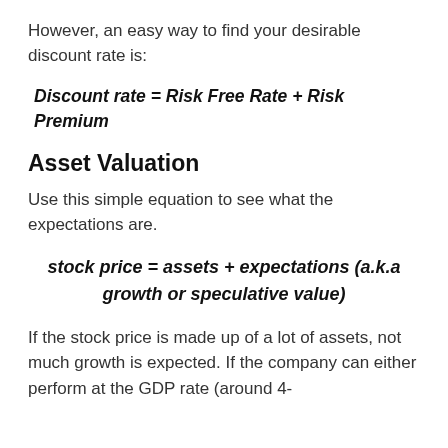However, an easy way to find your desirable discount rate is:
Asset Valuation
Use this simple equation to see what the expectations are.
If the stock price is made up of a lot of assets, not much growth is expected. If the company can either perform at the GDP rate (around 4-